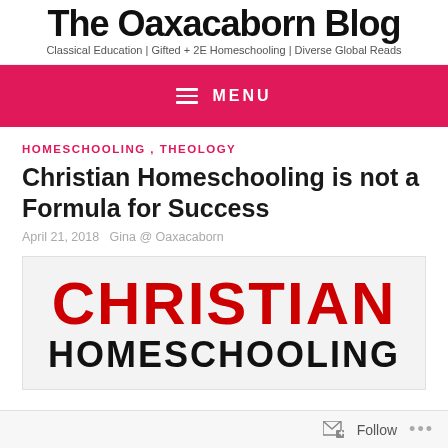Classical Education | Gifted + 2E Homeschooling | Diverse Global Reads
MENU
HOMESCHOOLING , THEOLOGY
Christian Homeschooling is not a Formula for Success
April 21, 2018   Gina @ Oaxacaborn
[Figure (illustration): Featured image with bold red uppercase text CHRISTIAN on top and black uppercase text HOMESCHOOLING partially visible below]
Follow ...